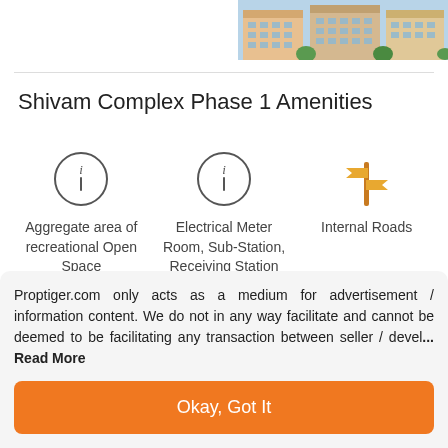[Figure (photo): Exterior photo of Shivam Complex Phase 1 apartment building, showing multi-storey residential complex]
Shivam Complex Phase 1 Amenities
[Figure (infographic): Three amenity icons: info circle for Aggregate area of recreational Open Space, info circle for Electrical Meter Room Sub-Station Receiving Station, and directional sign for Internal Roads]
Aggregate area of recreational Open Space
Electrical Meter Room, Sub-Station, Receiving Station
Internal Roads
Proptiger.com only acts as a medium for advertisement / information content. We do not in any way facilitate and cannot be deemed to be facilitating any transaction between seller / devel... Read More
Okay, Got It